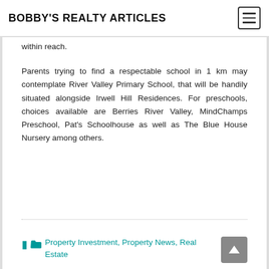BOBBY'S REALTY ARTICLES
within reach.
Parents trying to find a respectable school in 1 km may contemplate River Valley Primary School, that will be handily situated alongside Irwell Hill Residences. For preschools, choices available are Berries River Valley, MindChamps Preschool, Pat's Schoolhouse as well as The Blue House Nursery among others.
Property Investment, Property News, Real Estate